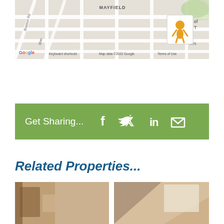[Figure (map): Google Maps view of Mayfield area showing street grid with labels including MAYFIELD text, Braston Rd, Black [street], street intersections, Google branding, pegman icon, and footer text: Keyboard shortcuts, Map data ©2022 Google, Terms of Use]
[Figure (infographic): Green sharing bar with text 'Get Sharing...' and social media icons: Facebook (f), Twitter (bird), LinkedIn (in), Email (envelope)]
Related Properties...
[Figure (photo): Interior room photo showing window with curtains and furniture, left side]
[Figure (photo): Interior room photo showing angled ceiling/wall with window, right side]